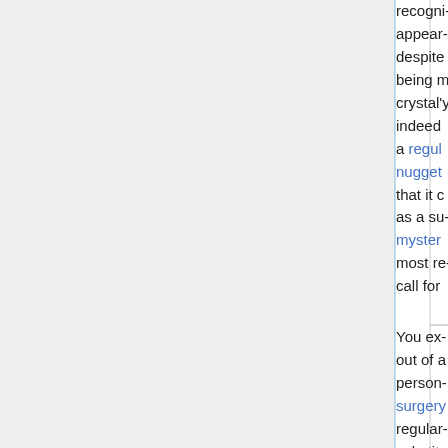|  |  |  |  | recogni- appear- despite being m crystal'y indeed a regu- nugget- that it c as a su- myster- most re- call for |
|  |  |  |  | You ex- out of a person- surgery regular- substit- scalpel |